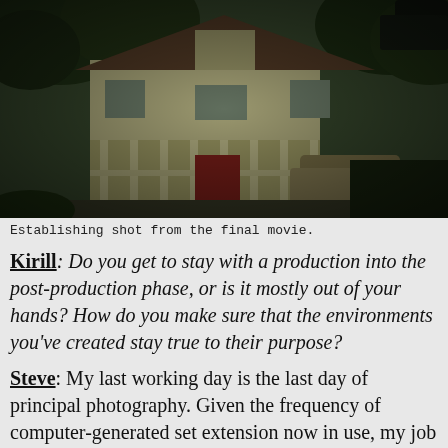[Figure (photo): Establishing shot of a two-story white house with a porch, surrounded by trees, with a car parked to the right. Dark, moody lighting from a film production.]
Establishing shot from the final movie.
Kirill: Do you get to stay with a production into the post-production phase, or is it mostly out of your hands? How do you make sure that the environments you've created stay true to their purpose?
Steve: My last working day is the last day of principal photography. Given the frequency of computer-generated set extension now in use, my job is also to lay out those virtual set choices while I still have my design team at their tables